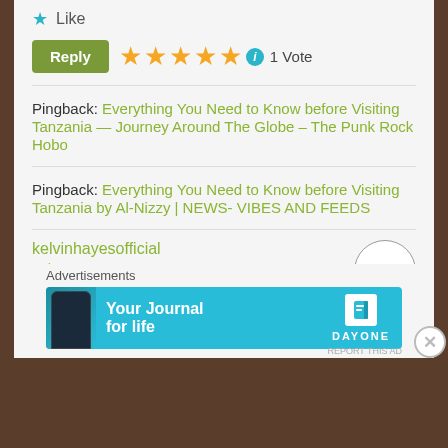★ Like
Reply ★★★★★ ℹ 1 Vote
Pingback: Everything You Need to Know before Visiting Tanzania — Journey Around The Globe – The Punk Rock Hobo
Pingback: Everything You Need to Know before Visiting Tanzania by Al-Nizzy | NEWS- VIBES AND FEEDS
kelvinhayesofficial
July 15, 2017
The people weren't so great queuing for
Advertisements
[Figure (screenshot): Day One app advertisement banner with teal background showing 'Your Journal for life' text and DAYONE branding]